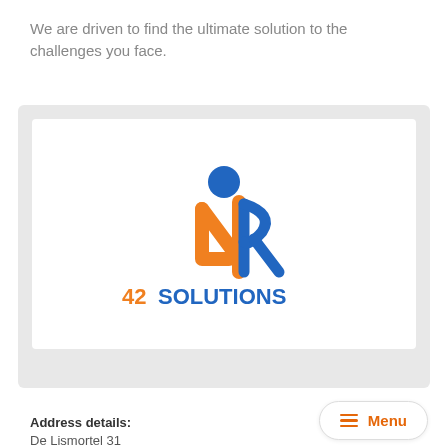We are driven to find the ultimate solution to the challenges you face.
[Figure (logo): 42 Solutions logo: a blue stick figure person with orange number 4 and blue stylized R forming the body, with text '42 SOLUTIONS' below in orange and blue.]
Address details:
De Lismortel 31